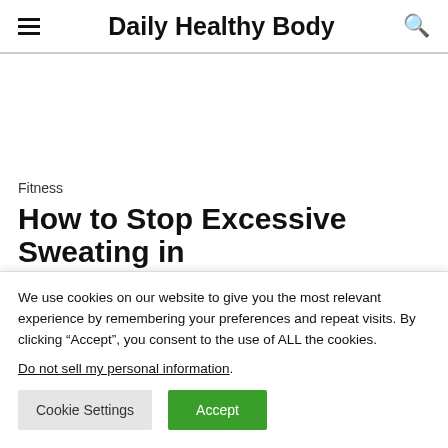Daily Healthy Body
Fitness
How to Stop Excessive Sweating in
We use cookies on our website to give you the most relevant experience by remembering your preferences and repeat visits. By clicking “Accept”, you consent to the use of ALL the cookies.
Do not sell my personal information.
Cookie Settings  Accept